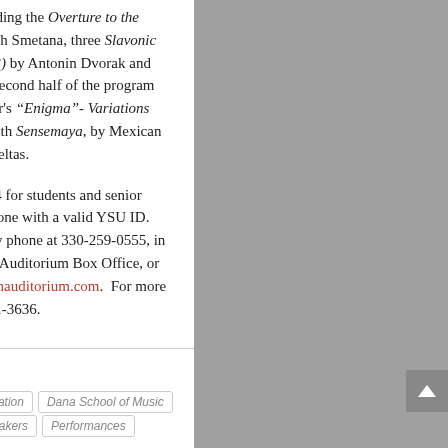European favorites including the Overture to the Bartered Bride by Bedrich Smetana, three Slavonic Dances (Op. 46, Nos. 1-3) by Antonin Dvorak and Smetana's Moldau. The second half of the program features Sir Edward Elgar's "Enigma"- Variations (OP. 36) and conclude with Sensemaya, by Mexican composer Silvestre Revueltas.
Concert tickets are $5, $4 for students and senior citizens, and free for anyone with a valid YSU ID. Tickets can be ordered by phone at 330-259-0555, in person at the Stambaugh Auditorium Box Office, or online at www.stambaughauditorium.com. For more information, call 330-941-3636.
TAGGED WITH
Creative Arts & Communication
Dana School of Music
Events
Lectures & Speakers
Performances